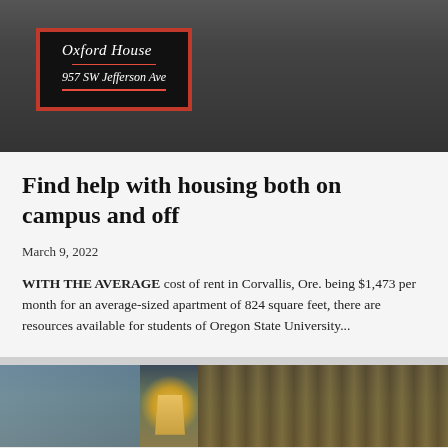[Figure (photo): Outdoor sign reading 'Oxford House, 957 SW Jefferson Ave' on a black post with red border, surrounded by bushes and a stone wall]
Find help with housing both on campus and off
March 9, 2022
WITH THE AVERAGE cost of rent in Corvallis, Ore. being $1,473 per month for an average-sized apartment of 824 square feet, there are resources available for students of Oregon State University...
[Figure (photo): Interior photo showing a lamp with warm glow and curtains in the background]